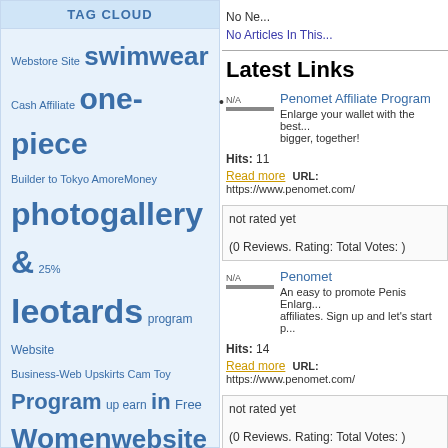TAG CLOUD
Webstore Site swimwear Cash Affiliate one-piece Builder to Tokyo AmoreMoney photogallery & 25% leotards program Website Business-Web Upskirts Cam Toy Program up earn in Free Women website Babes Spyman Inc. Adult
No Ne...
No Articles In This...
Latest Links
N/A
Penomet Affiliate Program
Enlarge your wallet with the best... bigger, together!
Hits: 11
Read more   URL: https://www.penomet.com/
not rated yet
(0 Reviews. Rating: Total Votes: )
N/A
Penomet
An easy to promote Penis Enlarg... affiliates. Sign up and let's start p...
Hits: 14
Read more   URL: https://www.penomet.com/
not rated yet
(0 Reviews. Rating: Total Votes: )